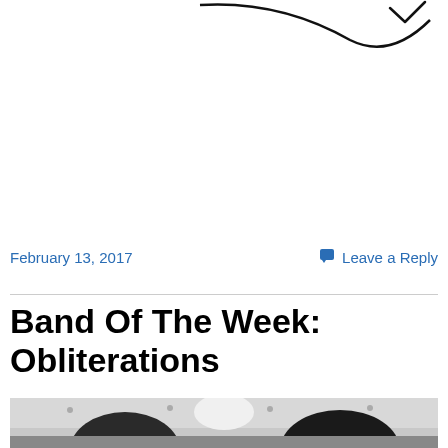[Figure (logo): Partial website logo/header graphic visible at top of page — black curved line element on white background]
February 13, 2017
Leave a Reply
Band Of The Week: Obliterations
[Figure (photo): Black and white photo of people from behind showing the backs of their heads, against a wall with metal studs/bolts]